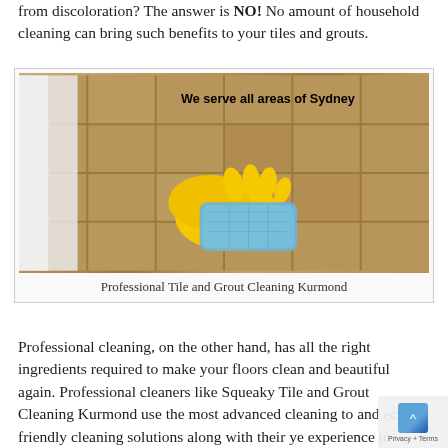from discoloration? The answer is NO! No amount of household cleaning can bring such benefits to your tiles and grouts.
[Figure (photo): A yellow-gloved hand holding a blue sponge, cleaning a brown tile floor. Text overlay reads 'We serve all areas of Sydney'.]
Professional Tile and Grout Cleaning Kurmond
Professional cleaning, on the other hand, has all the right ingredients required to make your floors clean and beautiful again. Professional cleaners like Squeaky Tile and Grout Cleaning Kurmond use the most advanced cleaning to and eco-friendly cleaning solutions along with their ye experience to bring a new life to your tiles and grouts. not just clean the outer surface but also eliminate all